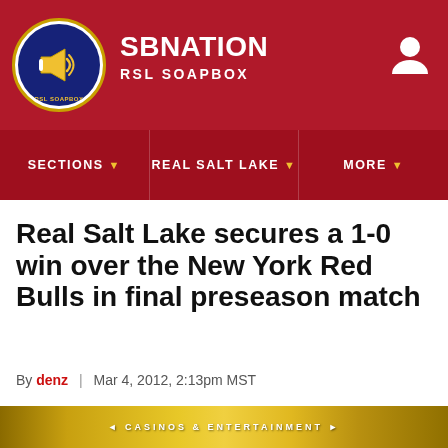[Figure (logo): SB Nation RSL Soapbox logo — circular badge with megaphone, blue/gold colors]
SBNATION RSL SOAPBOX
SECTIONS ▾   REAL SALT LAKE ▾   MORE ▾
Real Salt Lake secures a 1-0 win over the New York Red Bulls in final preseason match
By denz | Mar 4, 2012, 2:13pm MST
f  [twitter]  SHARE
[Figure (other): Bottom gold banner with text CASINOS & ENTERTAINMENT]